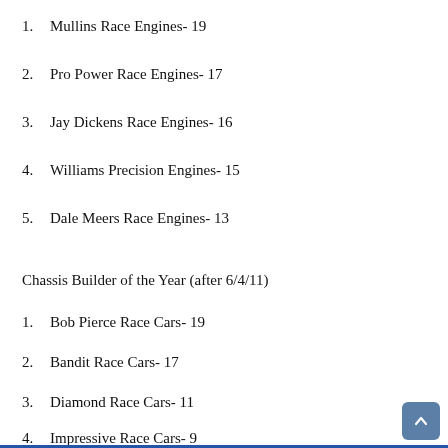1.   Mullins Race Engines- 19
2.   Pro Power Race Engines- 17
3.   Jay Dickens Race Engines- 16
4.   Williams Precision Engines- 15
5.   Dale Meers Race Engines- 13
Chassis Builder of the Year (after 6/4/11)
1.   Bob Pierce Race Cars- 19
2.   Bandit Race Cars- 17
3.   Diamond Race Cars- 11
4.   Impressive Race Cars- 9